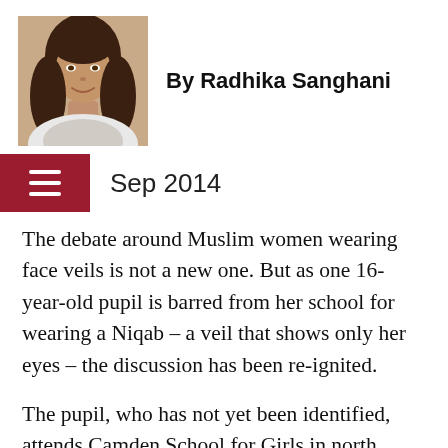[Figure (photo): Headshot photo of Radhika Sanghani, a young woman with long dark hair, smiling, against a white background]
By Radhika Sanghani
Sep 2014
The debate around Muslim women wearing face veils is not a new one. But as one 16-year-old pupil is barred from her school for wearing a Niqab – a veil that shows only her eyes – the discussion has been re-ignited.
The pupil, who has not yet been identified, attends Camden School for Girls in north London – a school typically known for its liberal attitude. But head teacher Elizabeth Kitcatt has said that the pupil wearing the Niqab goes against the